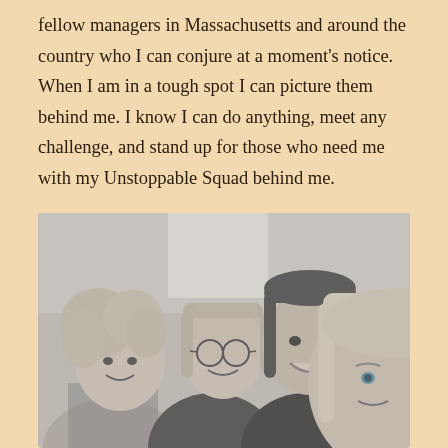fellow managers in Massachusetts and around the country who I can conjure at a moment's notice. When I am in a tough spot I can picture them behind me. I know I can do anything, meet any challenge, and stand up for those who need me with my Unstoppable Squad behind me.
[Figure (photo): A grayscale selfie-style photo of four smiling women grouped together. The leftmost woman has curly light hair and is wearing a checkered pattern top. The second woman has straight light-brown hair and glasses with a dark floral top. The third woman has straight dark hair and is smiling broadly. The fourth woman in the foreground right has straight blonde hair.]